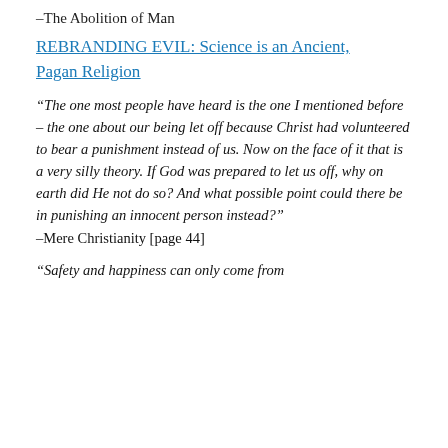–The Abolition of Man
REBRANDING EVIL: Science is an Ancient, Pagan Religion
“The one most people have heard is the one I mentioned before – the one about our being let off because Christ had volunteered to bear a punishment instead of us. Now on the face of it that is a very silly theory. If God was prepared to let us off, why on earth did He not do so? And what possible point could there be in punishing an innocent person instead?”
–Mere Christianity [page 44]
“Safety and happiness can only come from